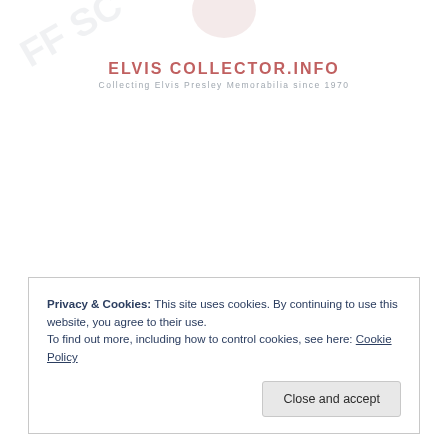ELVIS COLLECTOR.INFO — Collecting Elvis Presley Memorabilia since 1970
Privacy & Cookies: This site uses cookies. By continuing to use this website, you agree to their use.
To find out more, including how to control cookies, see here: Cookie Policy
[Close and accept]